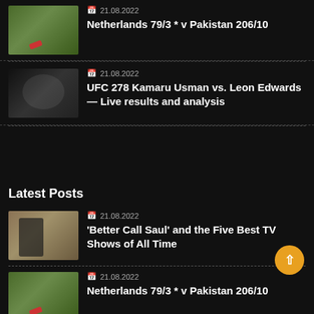[Figure (photo): Cricket match thumbnail showing players on green field with red figure]
21.08.2022
Netherlands 79/3 * v Pakistan 206/10
[Figure (photo): UFC fight thumbnail showing fighters in dark setting]
21.08.2022
UFC 278 Kamaru Usman vs. Leon Edwards — Live results and analysis
Latest Posts
[Figure (photo): Better Call Saul thumbnail showing man in desert landscape]
21.08.2022
'Better Call Saul' and the Five Best TV Shows of All Time
[Figure (photo): Cricket match thumbnail showing players on green field]
21.08.2022
Netherlands 79/3 * v Pakistan 206/10